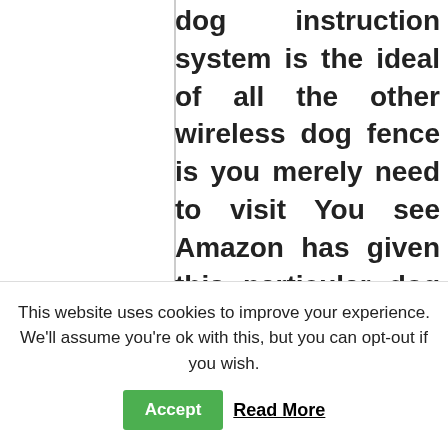dog instruction system is the ideal of all the other wireless dog fence is you merely need to visit You see Amazon has given this particular dog education device four out of 5 stars, the highest rated wireless dog fence on Amazon. The majority of invisible dog fences use static correction, auditory signals...
This website uses cookies to improve your experience. We'll assume you're ok with this, but you can opt-out if you wish.
Accept   Read More